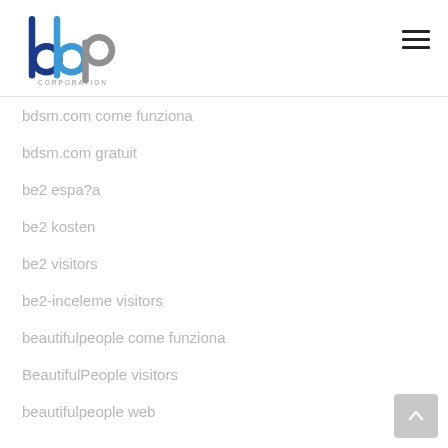[Figure (logo): BBP Corporation logo with blue and grey interlocking letters and 'CORPORATION' text below]
bdsm.com come funziona
bdsm.com gratuit
be2 espa?a
be2 kosten
be2 visitors
be2-inceleme visitors
beautifulpeople come funziona
BeautifulPeople visitors
beautifulpeople web